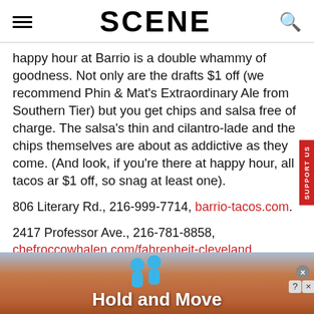SCENE
happy hour at Barrio is a double whammy of goodness. Not only are the drafts $1 off (we recommend Phin & Mat's Extraordinary Ale from Southern Tier) but you get chips and salsa free of charge. The salsa's thin and cilantro-laden and the chips themselves are about as addictive as they come. (And look, if you're there at happy hour, all tacos are $1 off, so snag at least one).
806 Literary Rd., 216-999-7714, barrio-tacos.com.
2417 Professor Ave., 216-781-8858, chefroccowhalen.com/fahrenheit-cleveland
[Figure (screenshot): Ad banner with blue figures icon and text 'Hold and Move' on a tan/brown gradient background]